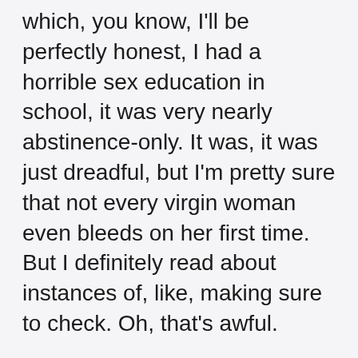which, you know, I'll be perfectly honest, I had a horrible sex education in school, it was very nearly abstinence-only. It was, it was just dreadful, but I'm pretty sure that not every virgin woman even bleeds on her first time. But I definitely read about instances of, like, making sure to check. Oh, that's awful.
Courtney:  I almost just said, marriage is awful. I don't think marriage has to be awful. Has it been awful for a really long time and are there still things that are awful about it? Yes. But I don't think it has to be. I think there are things we can do to make marriage a better institution. Because, I love you, and I love us. I